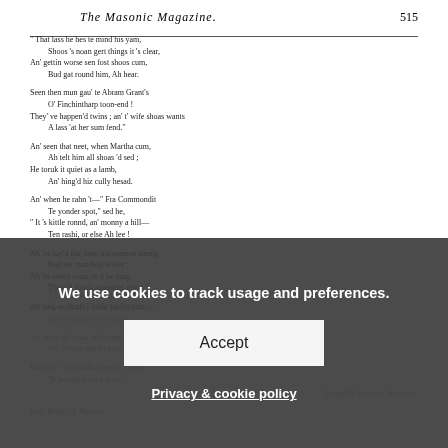The Masonic Magazine.     515
" That lass he hes te mind his yam,
  Shoos 's noan gert things it 's clear,
An' gettin worse sen fost shoos cum,
  Bud gat round him, Ah hear.

Seen then mun gau' te Abram Grant's
  O' Finchintharp toon-end !
They' ve happen'd twins ; an' t' wife shoas wants
  A lass 'at her sum fend."

An' seen that neet, when Martha cum,
  Ah telt him all shoas 'd sed ;
He toruk it quiet as a lamb,
  An' hing'd hiz cully hesad.

An' when he rahn 't—" Fra Commondit
  Te yonder spot," sed he,
" It 's kittle ronnd, an' monny a hill—
  Ten rashi, or else Ah lee !

Ah 've luv'd tha, lass, uncommon strung,
  Bud we mun boo te fate ;
Ah 'm sarten soan, or it be lung,
  Thoo 'll fion'd anandder mute."

An' sed, as thruff i' lahle yet he past,
" Ah 's soan Ah wish she woor !
  Ah thews, tha mean, me hart hed brust,
    As he toon'd on his heel.
An' seen Ah 's noa at Abram Grant's,
  An' t' twins tha ha noa crost,
Bud, Oh ! Ah thinks it hed it 't sed !
  Te he sein from a man !
    Toevdall's Northern Almanack.
Loth. Bridal Of Ticenate.
We use cookies to track usage and preferences.
Accept
Privacy & cookie policy